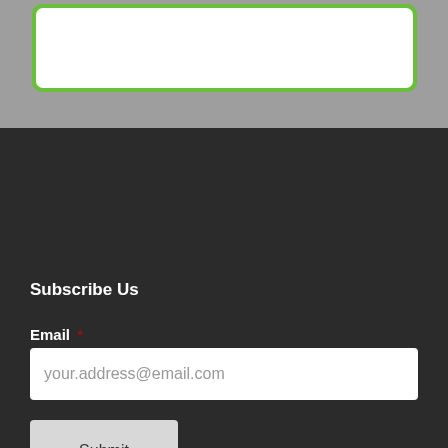[Figure (screenshot): Gray background section with a green rounded box containing a white inner area at the top of the page]
Subscribe Us
Email *
your.address@email.com
Submit
© 2018 All rights reserved.
TOP